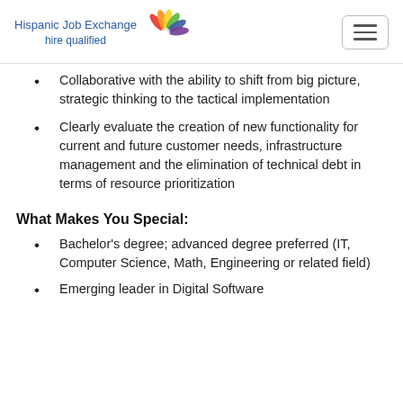Hispanic Job Exchange hire qualified
Collaborative with the ability to shift from big picture, strategic thinking to the tactical implementation
Clearly evaluate the creation of new functionality for current and future customer needs, infrastructure management and the elimination of technical debt in terms of resource prioritization
What Makes You Special:
Bachelor's degree; advanced degree preferred (IT, Computer Science, Math, Engineering or related field)
Emerging leader in Digital Software